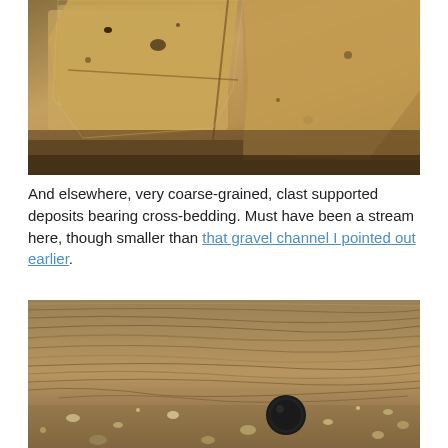[Figure (photo): Close-up photograph of pale yellowish-tan coarse-grained rock/sediment outcrop showing blocky, rough-textured surface with cavities and irregular fractures.]
And elsewhere, very coarse-grained, clast supported deposits bearing cross-bedding. Must have been a stream here, though smaller than that gravel channel I pointed out earlier.
[Figure (photo): Photograph of sandy sediment layers showing clear cross-bedding laminations in tan/brown tones with scattered small gravel clasts and a dark circular object (lens cap or coin scale) in the lower center for scale.]